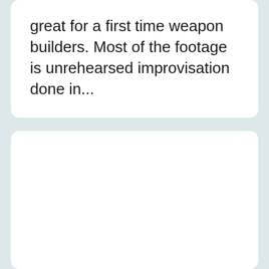great for a first time weapon builders. Most of the footage is unrehearsed improvisation done in...